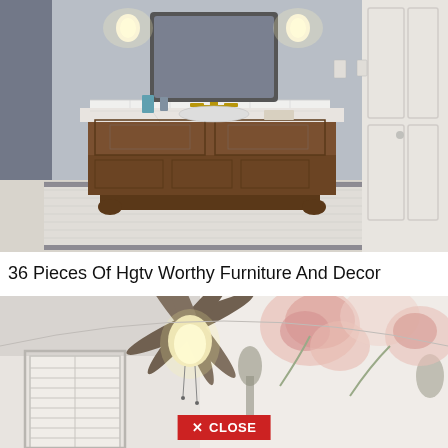[Figure (photo): Bathroom interior with dark wood vanity cabinet with marble top, ornate mirror, white subway tile backsplash, brass faucet fixtures, penny tile floor with black border, and white paneled doors]
36 Pieces Of Hgtv Worthy Furniture And Decor
[Figure (photo): Interior room with ceiling fan with glass globe light fixture, vaulted ceiling, white shuttered window, and floral wallpaper or mural with pink roses and grey thistle on white background. Red CLOSE button overlay at bottom.]